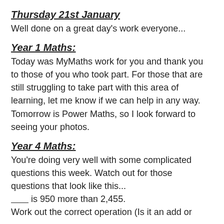Thursday 21st January
Well done on a great day's work everyone...
Year 1 Maths:
Today was MyMaths work for you and thank you to those of you who took part. For those that are still struggling to take part with this area of learning, let me know if we can help in any way. Tomorrow is Power Maths, so I look forward to seeing your photos.
Year 4 Maths:
You're doing very well with some complicated questions this week. Watch out for those questions that look like this...
______ is 950 more than 2,455.
Work out the correct operation (Is it an add or